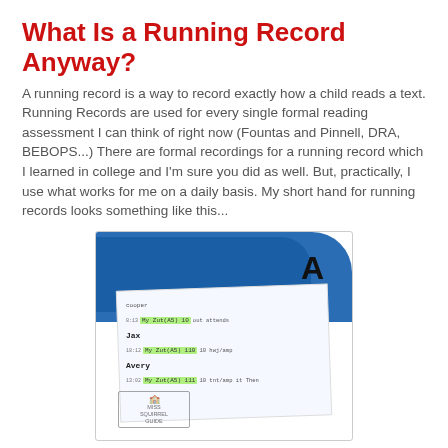What Is a Running Record Anyway?
A running record is a way to record exactly how a child reads a text.  Running Records are used for every single formal reading assessment I can think of right now (Fountas and Pinnell, DRA, BEBOPS...)  There are formal recordings for a running record which I learned in college and I'm sure you did as well.  But, practically, I use what works for me on a daily basis.   My short hand for running records looks something like this...
[Figure (photo): Photo of a blue folder with the letter A on it, and a white paper showing a handwritten running record with student names (Jax, Avery) and highlighted green text entries. A watermark/logo is visible in the bottom left of the photo.]
How Often Do You Do A Running